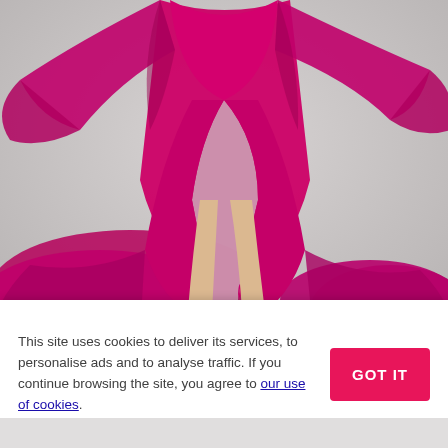[Figure (photo): A model wearing a flowing magenta/hot-pink chiffon dress with long sleeves and a high slit, posing against a light grey background. Only the lower body and legs are visible, wearing silver strappy heels.]
This site uses cookies to deliver its services, to personalise ads and to analyse traffic. If you continue browsing the site, you agree to our use of cookies.